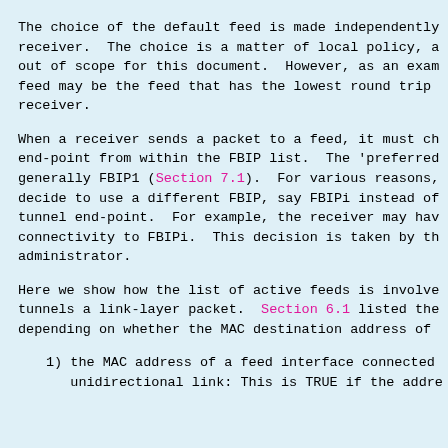The choice of the default feed is made independently receiver. The choice is a matter of local policy, a out of scope for this document. However, as an exam feed may be the feed that has the lowest round trip receiver.
When a receiver sends a packet to a feed, it must ch end-point from within the FBIP list. The 'preferred generally FBIP1 (Section 7.1). For various reasons, decide to use a different FBIP, say FBIPi instead of tunnel end-point. For example, the receiver may hav connectivity to FBIPi. This decision is taken by th administrator.
Here we show how the list of active feeds is involve tunnels a link-layer packet. Section 6.1 listed the depending on whether the MAC destination address of
1) the MAC address of a feed interface connected unidirectional link: This is TRUE if the addre